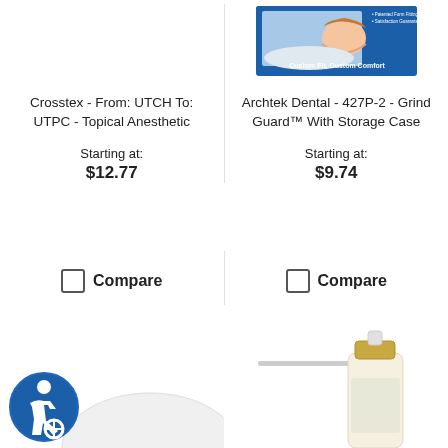[Figure (photo): Archtek Dental Grind Guard product box - blue packaging showing a sleeping person, with text 'Custom Fit, Custom Comfort']
Crosstex - From: UTCH To: UTPC - Topical Anesthetic
Archtek Dental - 427P-2 - Grind Guard™ With Storage Case
Starting at:
$12.77
Starting at:
$9.74
Compare
Compare
[Figure (photo): Accessibility icon - blue circle with white wheelchair user symbol]
[Figure (photo): White dome-shaped product, partially visible at bottom of page]
[Figure (photo): Spray bottle product, partially visible at bottom right of page]